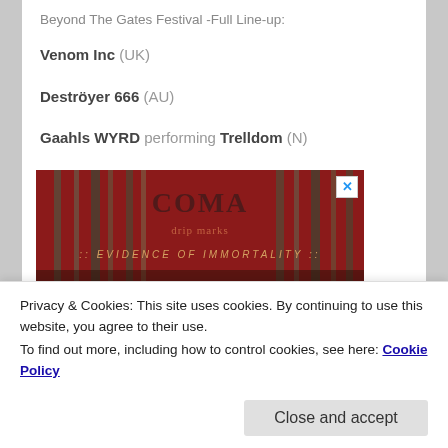Beyond The Gates Festival -Full Line-up:
Venom Inc (UK)
Deströyer 666 (AU)
Gaahls WYRD performing Trelldom (N)
[Figure (illustration): Album/band artwork with dark red and grey colors, text reading 'evidence of immortality' with gothic lettering at top]
Privacy & Cookies: This site uses cookies. By continuing to use this website, you agree to their use.
To find out more, including how to control cookies, see here: Cookie Policy
Infernal War (PL)